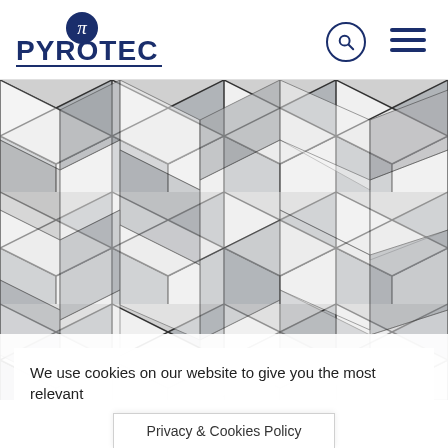[Figure (logo): Pyrotec company logo with blue pi symbol and blue text 'PYROTEC' with underline]
[Figure (photo): Abstract geometric photo of repeating 3D angular white and grey metallic tile shapes arranged in a chevron/herringbone pattern]
We use cookies on our website to give you the most relevant
Privacy & Cookies Policy